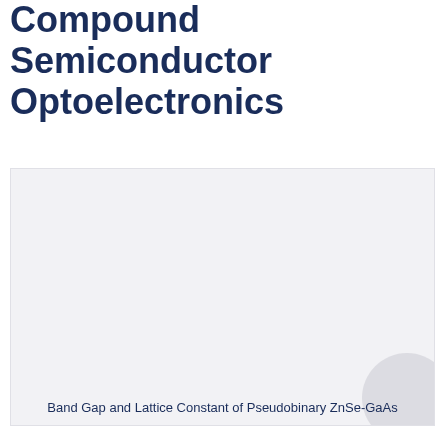Compound Semiconductor Optoelectronics
[Figure (other): A light grey rectangular placeholder image area for a figure related to Band Gap and Lattice Constant of Pseudobinary ZnSe-GaAs, with a circular accent element in the lower right corner.]
Band Gap and Lattice Constant of Pseudobinary ZnSe-GaAs